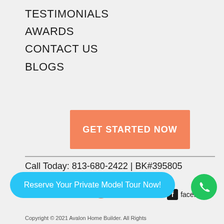TESTIMONIALS
AWARDS
CONTACT US
BLOGS
GET STARTED NOW
Call Today: 813-680-2422 | BK#395805
Panorama 360°  facebook
Reserve Your Private Model Tour Now!
Copyright © 2021 Avalon Home Builder. All Rights